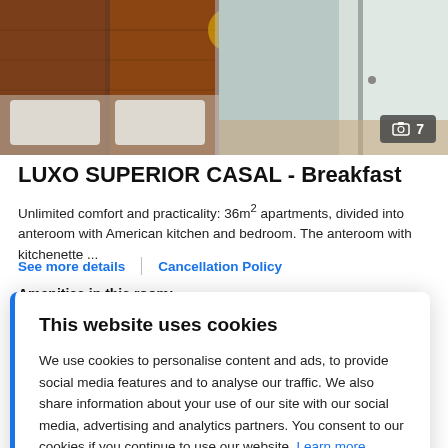[Figure (photo): Hotel room photo showing wooden wardrobe, bed, and bathroom area with photo count badge showing 7]
LUXO SUPERIOR CASAL - Breakfast
Unlimited comfort and practicality: 36m² apartments, divided into anteroom with American kitchen and bedroom. The anteroom with kitchenette ...
See more details | Cancellation Policy
Amenities in this room:
This website uses cookies
We use cookies to personalise content and ads, to provide social media features and to analyse our traffic. We also share information about your use of our site with our social media, advertising and analytics partners. You consent to our cookies if you continue to use our website. Learn more